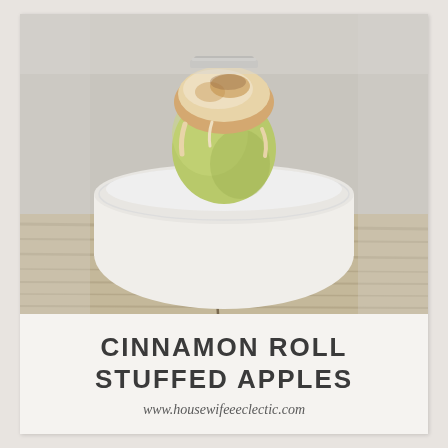[Figure (photo): Photo of a cinnamon roll stuffed green apple topped with frosting and cinnamon, sitting on a white plate on a rustic wooden surface. The apple is baked and the cinnamon roll filling overflows from the top.]
CINNAMON ROLL STUFFED APPLES
www.housewifeeeclectic.com